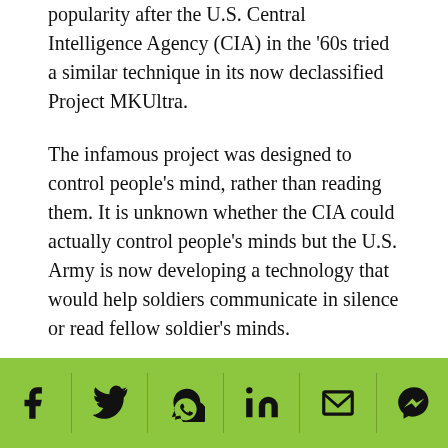popularity after the U.S. Central Intelligence Agency (CIA) in the '60s tried a similar technique in its now declassified Project MKUltra.
The infamous project was designed to control people's mind, rather than reading them. It is unknown whether the CIA could actually control people's minds but the U.S. Army is now developing a technology that would help soldiers communicate in silence or read fellow soldier's minds.
Communication is key during major operations. But in certain conditions, speaking to each other could be dangerous. That's where the technology comes in. A soldier can communicate with each other in silence without the enemy noticing. Researchers, funded by the U.S. Army Research Office (ARO) have been able to...
[Figure (other): Social media sharing bar with icons for Facebook, Twitter, WhatsApp, LinkedIn, Email, and Messenger on a green background]